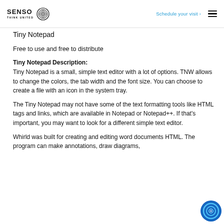SENSO THINK UNITED — Schedule your visit
Tiny Notepad
Free to use and free to distribute
Tiny Notepad Description:
Tiny Notepad is a small, simple text editor with a lot of options. TNW allows to change the colors, the tab width and the font size. You can choose to create a file with an icon in the system tray.
The Tiny Notepad may not have some of the text formatting tools like HTML tags and links, which are available in Notepad or Notepad++. If that's important, you may want to look for a different simple text editor.
Whirld was built for creating and editing word documents HTML. The program can make annotations, draw diagrams,